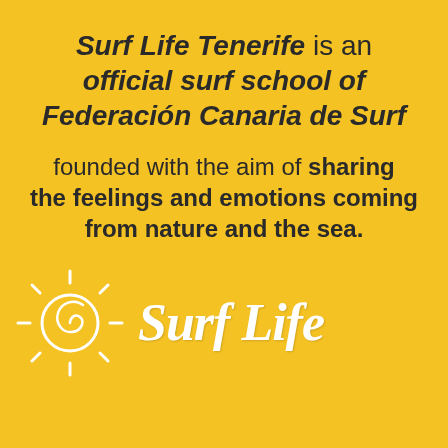Surf Life Tenerife is an official surf school of Federación Canaria de Surf
founded with the aim of sharing the feelings and emotions coming from nature and the sea.
[Figure (logo): Sun icon with spiral and rays, plus Surf Life text logo in white italic font on yellow background]